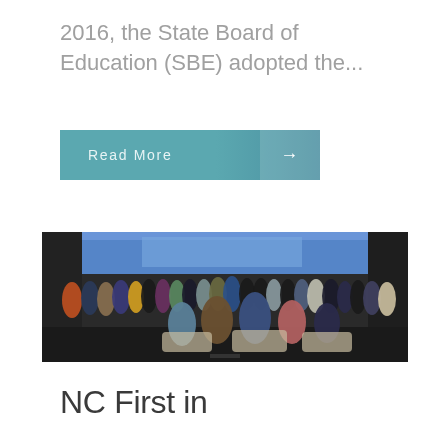2016, the State Board of Education (SBE) adopted the...
Read More →
[Figure (photo): Group photo of approximately 30 people standing and sitting on a stage in front of a blue presentation screen backdrop.]
NC First in